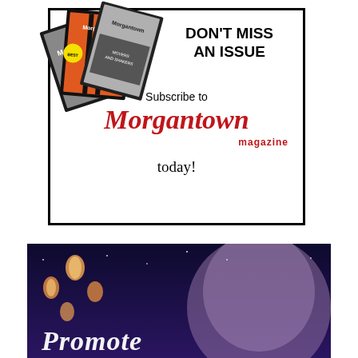[Figure (advertisement): Morgantown magazine subscription advertisement with magazine covers on left and text on right reading DON'T MISS AN ISSUE, Subscribe to Morgantown magazine today!]
[Figure (photo): Night sky photo with glowing paper lanterns floating and a person visible, with the word PROMOTE in white italic text at the bottom left]